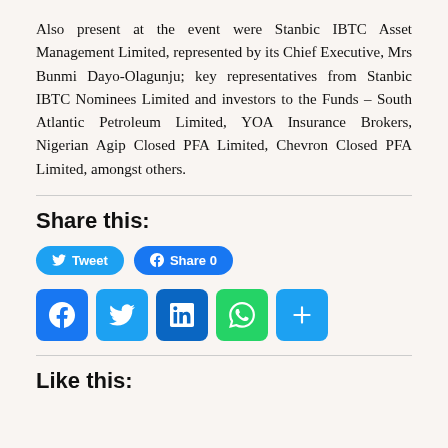Also present at the event were Stanbic IBTC Asset Management Limited, represented by its Chief Executive, Mrs Bunmi Dayo-Olagunju; key representatives from Stanbic IBTC Nominees Limited and investors to the Funds – South Atlantic Petroleum Limited, YOA Insurance Brokers, Nigerian Agip Closed PFA Limited, Chevron Closed PFA Limited, amongst others.
Share this:
Tweet  Share 0
[Figure (infographic): Row of social media share icon buttons: Facebook (blue), Twitter (light blue), LinkedIn (dark blue), WhatsApp (green), More/Plus (light blue)]
Like this: